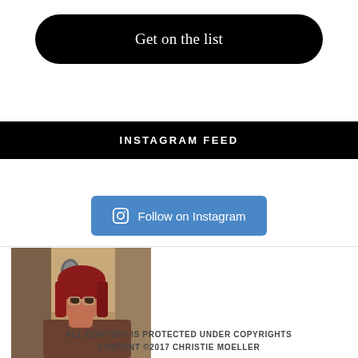Get on the list
INSTAGRAM FEED
Follow on Instagram
[Figure (photo): Photo of a woman with red hair and bangs, wearing glasses, in front of a microphone in a room.]
ALL CONTENT IS PROTECTED UNDER COPYRIGHTS CONTENT ©2017 CHRISTIE MOELLER